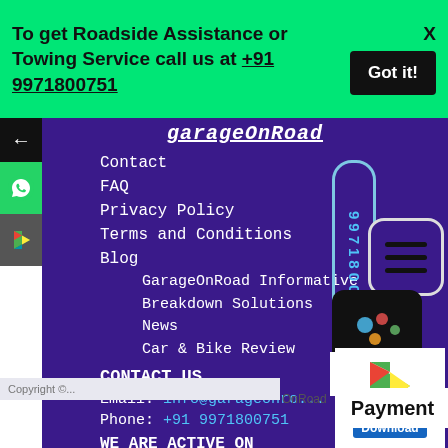To get Roadside Assistance or Towing Service call us at +91 9971800751
Got it!
X
garageOnRoad
Contact
FAQ
Privacy Policy
Terms and Conditions
Blog
GarageOnRoad Informative
Breakdown Solutions
News
Car & Bike Review
CONTACT US
Email: info@garageonro...
Phone: +91 9971800751
WE ARE ACTIVE ON
[Figure (logo): LinkedIn logo badge blue square with IN]
9971800751 (vertical phone pill)
[Figure (logo): GarageOnRoad app icon dark background]
[Figure (logo): Hamburger menu icon white rounded box]
Advance
[Figure (logo): Google Play store triangle logo]
Payment
Download
OnRoad
Copyright ©... OnRoad